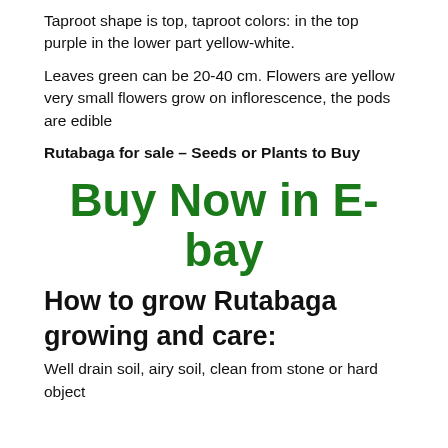Taproot shape is top, taproot colors: in the top purple in the lower part yellow-white.
Leaves green can be 20-40 cm. Flowers are yellow very small flowers grow on inflorescence, the pods are edible
Rutabaga for sale – Seeds or Plants to Buy
[Figure (other): Buy Now in E-bay promotional text in large green bold font]
How to grow Rutabaga growing and care:
Well drain soil, airy soil, clean from stone or hard object